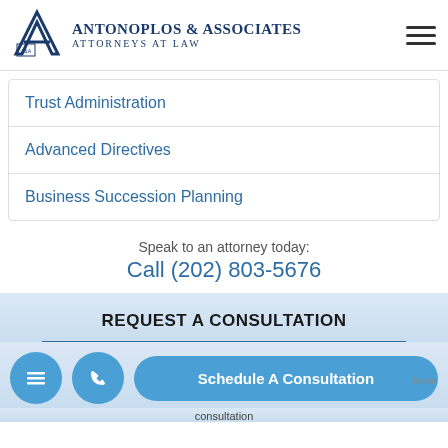[Figure (logo): Antonoplos & Associates Attorneys at Law logo with letter A and small shield icon]
Trust Administration
Advanced Directives
Business Succession Planning
Speak to an attorney today:
Call (202) 803-5676
REQUEST A CONSULTATION
Schedule A Consultation